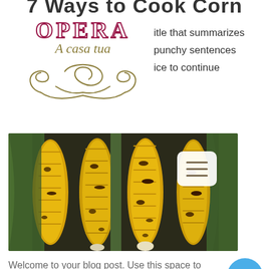7 Ways to Cook Corn
[Figure (logo): OPERA A casa tua logo with decorative swirl ornament below]
itle that summarizes
punchy sentences
ice to continue
[Figure (photo): Several ears of grilled corn on the cob with charred marks, surrounded by green husks, viewed from above on a dark background]
Welcome to your blog post. Use this space to connect with your readers potential customers in a way that's current